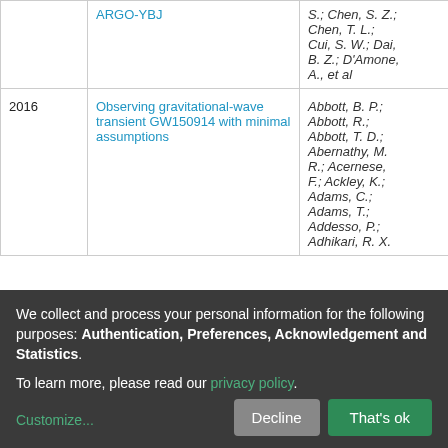| Year | Title | Authors | Access |
| --- | --- | --- | --- |
|  | ARGO-YBJ | S.; Chen, S. Z.; Chen, T. L.; Cui, S. W.; Dai, B. Z.; D'Amone, A., et al |  |
| 2016 | Observing gravitational-wave transient GW150914 with minimal assumptions | Abbott, B. P.; Abbott, R.; Abbott, T. D.; Abernathy, M. R.; Acernese, F.; Ackley, K.; Adams, C.; Adams, T.; Addesso, P.; Adhikari, R. X. | open |
We collect and process your personal information for the following purposes: Authentication, Preferences, Acknowledgement and Statistics.
To learn more, please read our privacy policy.